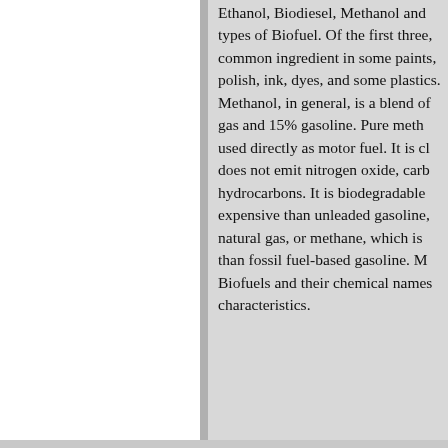Ethanol, Biodiesel, Methanol and other types of Biofuel. Of the first three, common ingredient in some paints, polish, ink, dyes, and some plastics. Methanol, in general, is a blend of gas and 15% gasoline. Pure methanol used directly as motor fuel. It is clean does not emit nitrogen oxide, carbon hydrocarbons. It is biodegradable expensive than unleaded gasoline natural gas, or methane, which is than fossil fuel-based gasoline. Biofuels and their chemical names characteristics.